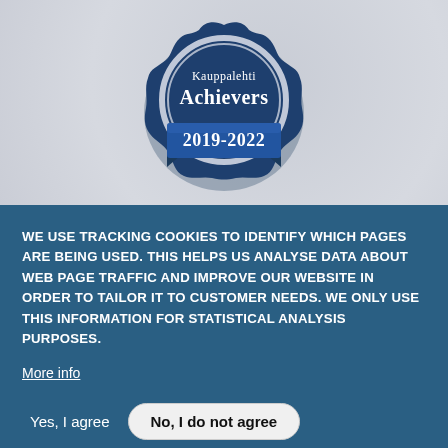[Figure (logo): Kauppalehti Achievers 2019-2022 badge/seal — dark navy blue scalloped medallion with silver ring, white text 'Kauppalehti' and 'Achievers', blue ribbon banner with white text '2019-2022']
WE USE TRACKING COOKIES TO IDENTIFY WHICH PAGES ARE BEING USED. THIS HELPS US ANALYSE DATA ABOUT WEB PAGE TRAFFIC AND IMPROVE OUR WEBSITE IN ORDER TO TAILOR IT TO CUSTOMER NEEDS. WE ONLY USE THIS INFORMATION FOR STATISTICAL ANALYSIS PURPOSES.
More info
Yes, I agree   No, I do not agree